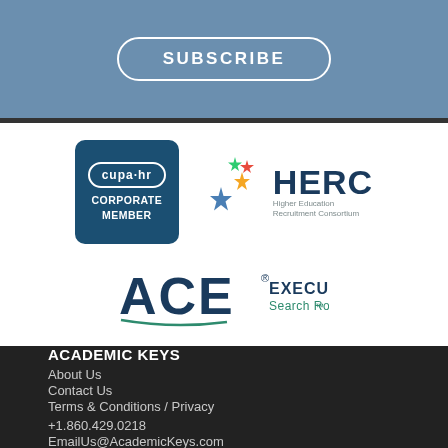SUBSCRIBE
[Figure (logo): CUPA-HR Corporate Member logo (blue rounded square with white text and oval) and HERC (Higher Education Recruitment Consortium) logo with star graphic]
[Figure (logo): ACE Executive Search Roundtable logo with large blue ACE letters and teal text]
ACADEMIC KEYS
About Us
Contact Us
Terms & Conditions / Privacy
+1.860.429.0218
EmailUs@AcademicKeys.com